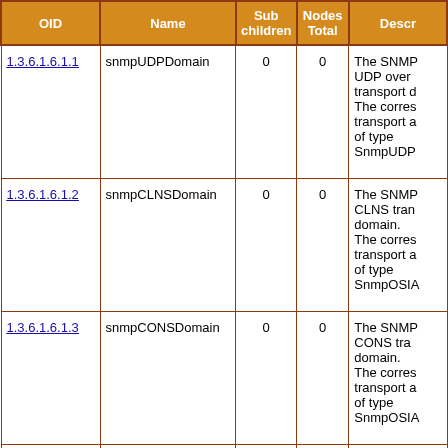| OID | Name | Sub children | Nodes Total | Descr |
| --- | --- | --- | --- | --- |
| 1.3.6.1.6.1.1 | snmpUDPDomain | 0 | 0 | The SNMP UDP over transport d. The corres transport a of type SnmpUDP |
| 1.3.6.1.6.1.2 | snmpCLNSDomain | 0 | 0 | The SNMP CLNS tran domain. The corres transport a of type SnmpOSIA |
| 1.3.6.1.6.1.3 | snmpCONSDomain | 0 | 0 | The SNMP CONS tra domain. The corres transport a of type SnmpOSIA |
|  |  |  |  | The SNMP |